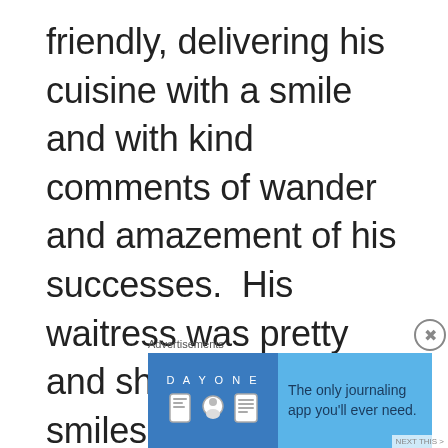friendly, delivering his cuisine with a smile and with kind comments of wander and amazement of his successes.  His waitress was pretty and she smiled long smiles and laughed at appropriate times.  “You are so big and strong.  But I think it would help if you would take some food with you.”  So she packed him a bag of food and sent him on his
Advertisements
[Figure (illustration): Day One journaling app advertisement banner with blue background, app logo icons, and text 'The only journaling app you'll ever need.']